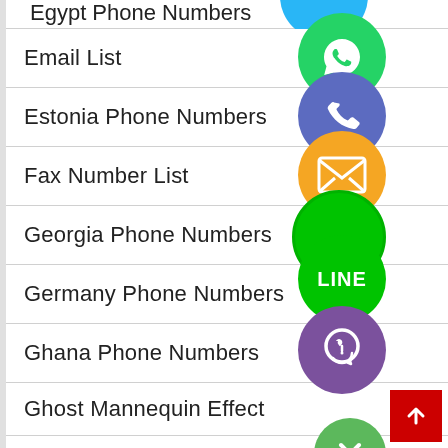Egypt Phone Numbers
Email List
Estonia Phone Numbers
Fax Number List
Georgia Phone Numbers
Germany Phone Numbers
Ghana Phone Numbers
Ghost Mannequin Effect
Graphic Design